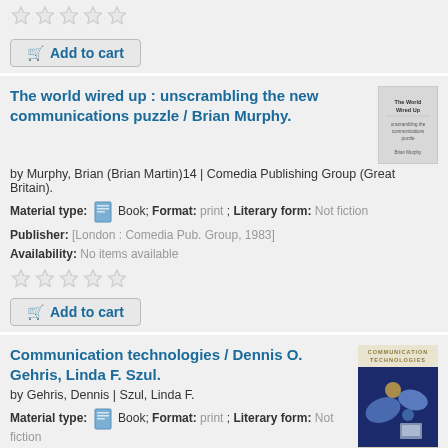[Figure (other): Five empty star rating icons]
Add to cart
The world wired up : unscrambling the new communications puzzle / Brian Murphy.
by Murphy, Brian (Brian Martin)14 | Comedia Publishing Group (Great Britain).
Material type: Book; Format: print ; Literary form: Not fiction
Publisher: [London : Comedia Pub. Group, 1983]
Availability: No items available
[Figure (other): Five empty star rating icons]
Add to cart
Communication technologies / Dennis O. Gehris, Linda F. Szul.
by Gehris, Dennis | Szul, Linda F.
Material type: Book; Format: print ; Literary form: Not fiction
Publisher: Upper Saddle River, NJ : Prentice Hall, 2002
Availability: No items available
[Figure (other): Five empty star rating icons]
Add to cart (partially visible)